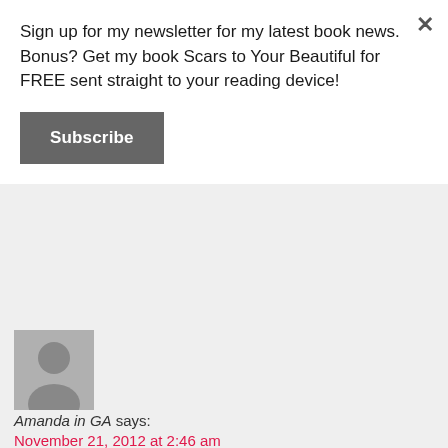Sign up for my newsletter for my latest book news. Bonus? Get my book Scars to Your Beautiful for FREE sent straight to your reading device!
Subscribe
[Figure (photo): Gray placeholder avatar silhouette]
Amanda in GA says:
November 21, 2012 at 2:46 am
Love finding new books to read. I really love to read almost a... t... i...
Privacy & Cookies: This site uses cookies. By continuing to use this website, you agree to their use.
To find out more, including how to control cookies, see here: Cookie Policy
Close and accept
[Figure (photo): Female commenter avatar photo]